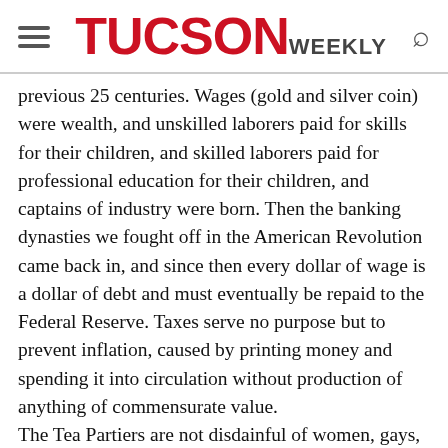TUCSON WEEKLY
previous 25 centuries. Wages (gold and silver coin) were wealth, and unskilled laborers paid for skills for their children, and skilled laborers paid for professional education for their children, and captains of industry were born. Then the banking dynasties we fought off in the American Revolution came back in, and since then every dollar of wage is a dollar of debt and must eventually be repaid to the Federal Reserve. Taxes serve no purpose but to prevent inflation, caused by printing money and spending it into circulation without production of anything of commensurate value. The Tea Partiers are not disdainful of women, gays, or minorities, and we have many women, gays, and minorities in our movement. We are merely